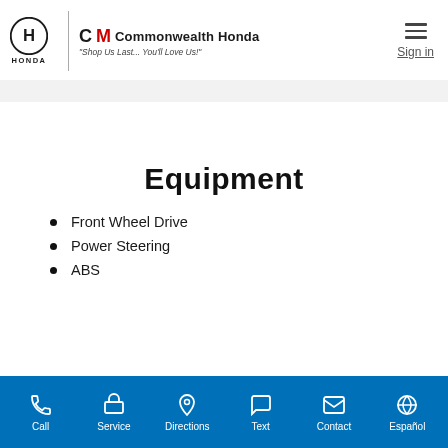[Figure (logo): Honda logo and Commonwealth Honda dealership branding with tagline 'Shop Us Last... You'll Love Us!']
Equipment
Front Wheel Drive
Power Steering
ABS
Call | Service | Directions | Text | Contact | Español